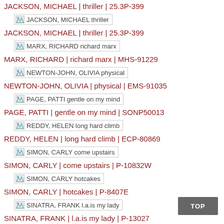JACKSON, MICHAEL | thriller | 25.3P-399
JACKSON, MICHAEL thriller
JACKSON, MICHAEL | thriller | 25.3P-399
MARX, RICHARD richard marx
MARX, RICHARD | richard marx | MHS-91229
NEWTON-JOHN, OLIVIA physical
NEWTON-JOHN, OLIVIA | physical | EMS-91035
PAGE, PATTI gentle on my mind
PAGE, PATTI | gentle on my mind | SONP50013
REDDY, HELEN long hard climb
REDDY, HELEN | long hard climb | ECP-80869
SIMON, CARLY come upstairs
SIMON, CARLY | come upstairs | P-10832W
SIMON, CARLY hotcakes
SIMON, CARLY | hotcakes | P-8407E
SINATRA, FRANK l.a.is my lady
SINATRA, FRANK | l.a.is my lady | P-13027
SINATRA, FRANK ol' blue eyes is back
SINATRA, FRANK | ol' blue eyes is back | P-8287D